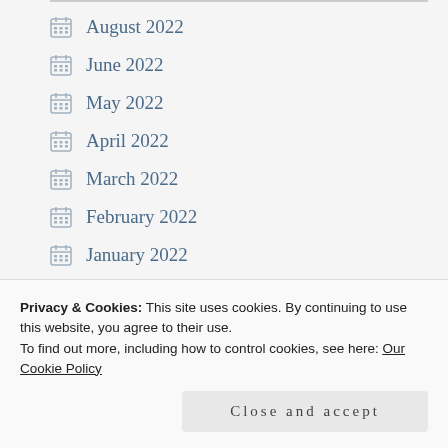August 2022
June 2022
May 2022
April 2022
March 2022
February 2022
January 2022
December 2021
November 2021
Privacy & Cookies: This site uses cookies. By continuing to use this website, you agree to their use.
To find out more, including how to control cookies, see here: Our Cookie Policy
Close and accept